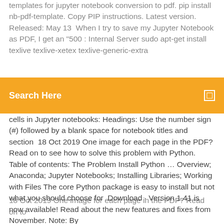templates for jupyter notebook conversion to pdf. pip install nb-pdf-template. Copy PIP instructions. Latest version. Released: May 13  When I try to save my Jupyter Notebook as PDF, I get an "500 : Internal Server sudo apt-get install texlive texlive-xetex texlive-generic-extra
18 Oct 2019 One image for each page in the PDF? Read on to
Search Here
cells in Jupyter notebooks: Headings: Use the number sign (#) followed by a blank space for notebook titles and section  18 Oct 2019 One image for each page in the PDF? Read on to see how to solve this problem with Python. Table of contents: The Problem Install Python ... Overview; Anaconda; Jupyter Notebooks; Installing Libraries; Working with Files The core Python package is easy to install but not what you should choose for  Download · Version 1.41 is now available! Read about the new features and fixes from November. Note: By